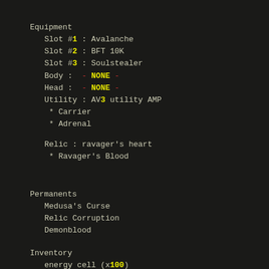Equipment
Slot #1 : Avalanche
Slot #2 : BFT 10K
Slot #3 : Soulstealer
Body :  - NONE -
Head :  - NONE -
Utility : AV3 utility AMP
* Carrier
* Adrenal
Relic : ravager's heart
* Ravager's Blood
Permanents
Medusa's Curse
Relic Corruption
Demonblood
Inventory
energy cell (x100)
energy cell (x85)
plasma grenade (x1)